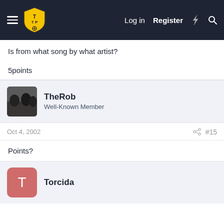TTP Forum — Log in  Register
Is from what song by what artist?
5points
TheRob
Well-Known Member
Oct 4, 2002  #15
Points?
Torcida